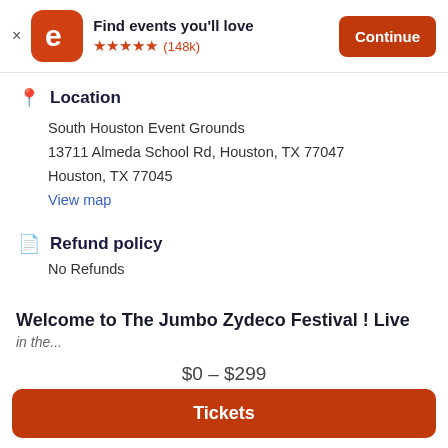Find events you'll love ★★★★★ (148k) Continue
Location
South Houston Event Grounds
13711 Almeda School Rd, Houston, TX 77047
Houston, TX 77045
View map
Refund policy
No Refunds
Welcome to The Jumbo Zydeco Festival ! Live
$0 – $299
Tickets